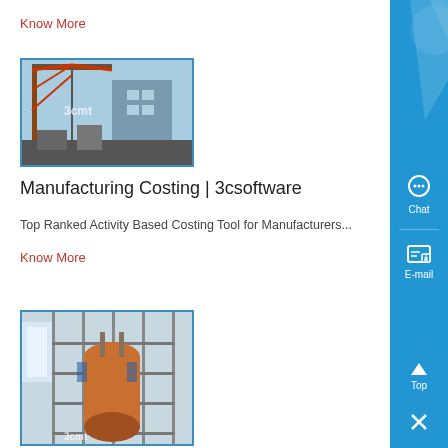Know More
[Figure (photo): Industrial crane and factory equipment photograph]
Manufacturing Costing | 3csoftware
Top Ranked Activity Based Costing Tool for Manufacturers...
Know More
[Figure (photo): Industrial reactor or large vessel with scaffolding photograph]
[Figure (screenshot): Sidebar with Chat, E-mail, Top, and close buttons on blue background]